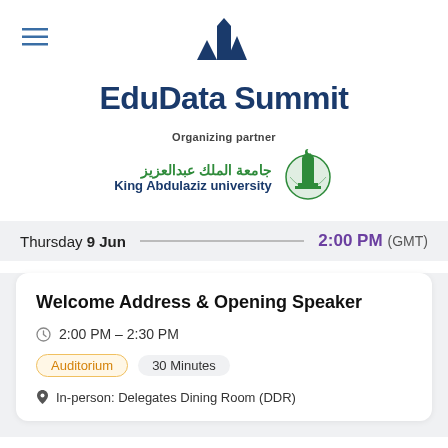[Figure (logo): EduData Summit logo with dark blue building/tower icon above the text]
EduData Summit
Organizing partner
[Figure (logo): King Abdulaziz University logo with Arabic text and green emblem]
Thursday 9 Jun  —  2:00 PM (GMT)
Welcome Address & Opening Speaker
2:00 PM – 2:30 PM
Auditorium   30 Minutes
In-person: Delegates Dining Room (DDR)